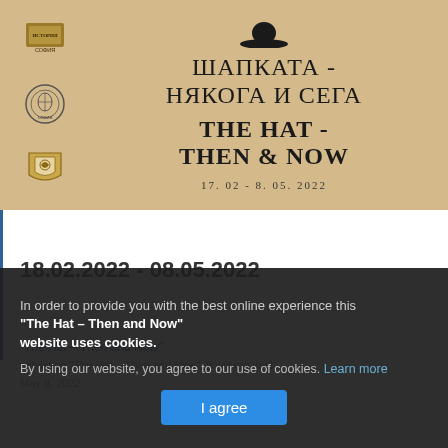[Figure (illustration): Exhibition banner with beige background showing three institutional logos on the left and exhibition title in Cyrillic and English on the right, with a bowler hat icon at top]
ШАПКАТА - НЯКОГА И СЕГА
THE HAT - THEN & NOW
17. 02 - 8. 05. 2022
18.02.2022 - 08.05.2022
In order to provide you with the best online experience this website uses cookies.
"The Hat – Then and Now"
By using our website, you agree to our use of cookies. Learn more
exhibition "The Hat – Then and Now". It will run until
May 8, 2022.